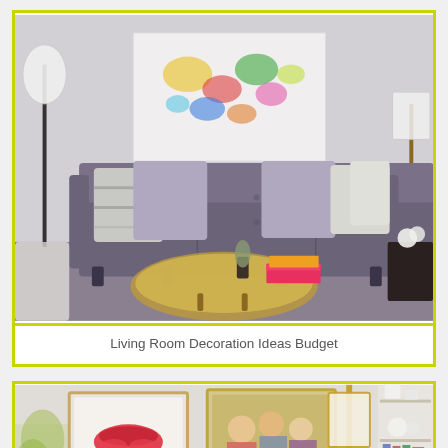[Figure (photo): Interior photo of a modern living room with a grey tufted sofa, lavender throw pillows, a round gold coffee table, colorful books, a large abstract artwork on the wall, and floor lamps on either side. The image has a yellow-green border.]
Living Room Decoration Ideas Budget
[Figure (photo): Partial interior photo of a living space showing framed artwork including a red lips print and a group photo, a gold lamp, and shelving with white decorative objects. The image has a yellow-green border and is cropped at the bottom.]